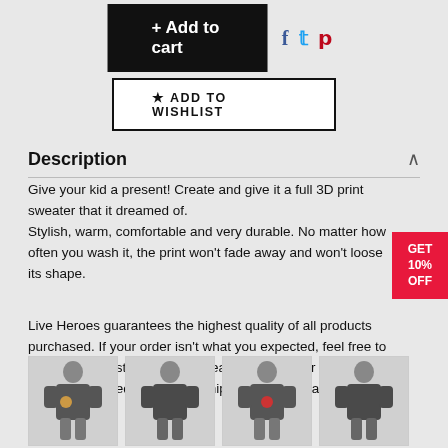[Figure (screenshot): Add to cart button (black) with social share icons (Facebook, Twitter, Pinterest)]
[Figure (screenshot): Add to Wishlist button with star icon]
Description
Give your kid a present! Create and give it a full 3D print sweater that it dreamed of.
Stylish, warm, comfortable and very durable. No matter how often you wash it, the print won't fade away and won't loose its shape.
Live Heroes guarantees the highest quality of all products purchased. If your order isn't what you expected, feel free to contact our Customer service team. We'll do our best to make you fully satisfied. Estimated shipping time 21 days.
[Figure (photo): Four thumbnail images of a child wearing a 3D print sweater from different angles]